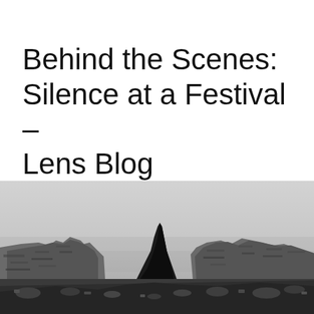Behind the Scenes: Silence at a Festival – Lens Blog
[Figure (photo): Black and white photograph of stone ruins against a pale overcast sky. Broken walls and rubble in the foreground, with a dark angular shape rising among the ruins.]